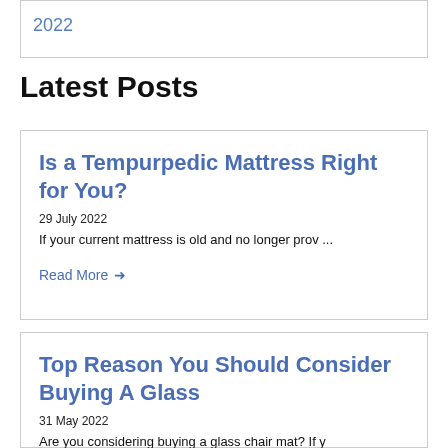2022
Latest Posts
Is a Tempurpedic Mattress Right for You?
29 July 2022
If your current mattress is old and no longer prov ...
Read More →
Top Reason You Should Consider Buying A Glass
31 May 2022
Are you considering buying a glass chair mat? If y